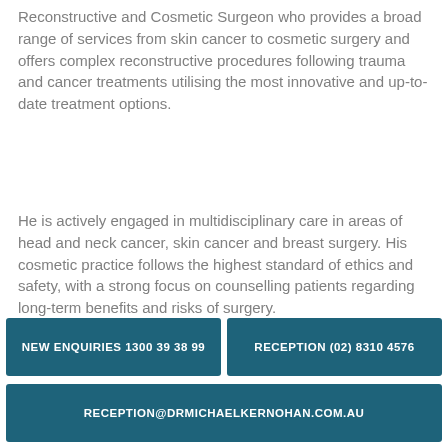Reconstructive and Cosmetic Surgeon who provides a broad range of services from skin cancer to cosmetic surgery and offers complex reconstructive procedures following trauma and cancer treatments utilising the most innovative and up-to-date treatment options.
He is actively engaged in multidisciplinary care in areas of head and neck cancer, skin cancer and breast surgery. His cosmetic practice follows the highest standard of ethics and safety, with a strong focus on counselling patients regarding long-term benefits and risks of surgery.
NEW ENQUIRIES 1300 39 38 99
RECEPTION (02) 8310 4576
RECEPTION@DRMICHAELKERNOHAN.COM.AU